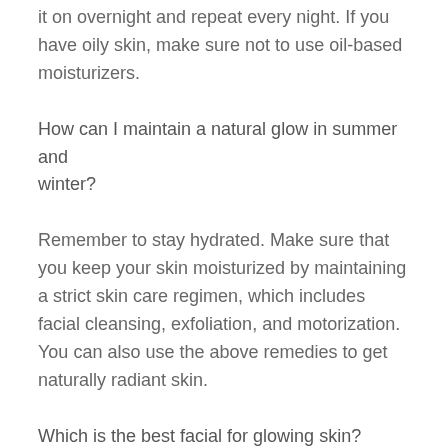it on overnight and repeat every night. If you have oily skin, make sure not to use oil-based moisturizers.
How can I maintain a natural glow in summer and winter?
Remember to stay hydrated. Make sure that you keep your skin moisturized by maintaining a strict skin care regimen, which includes facial cleansing, exfoliation, and motorization. You can also use the above remedies to get naturally radiant skin.
Which is the best facial for glowing skin?
You can use a fruit face pack once every 10-15 days. This can help replenish the natural moisture